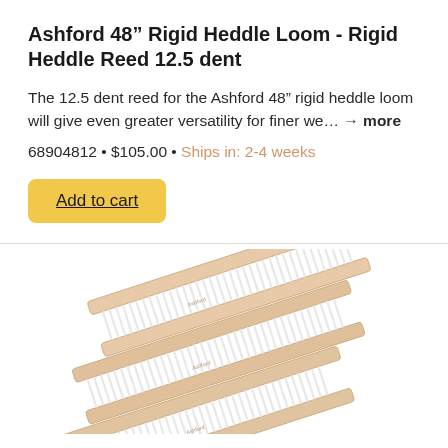Ashford 48” Rigid Heddle Loom - Rigid Heddle Reed 12.5 dent
The 12.5 dent reed for the Ashford 48” rigid heddle loom will give even greater versatility for finer we... → more
68904812 • $105.00 • Ships in: 2-4 weeks
Add to cart
[Figure (photo): Multiple rigid heddle reeds stacked at an angle, showing light wood frames with white plastic dents/teeth, photographed against a white background.]